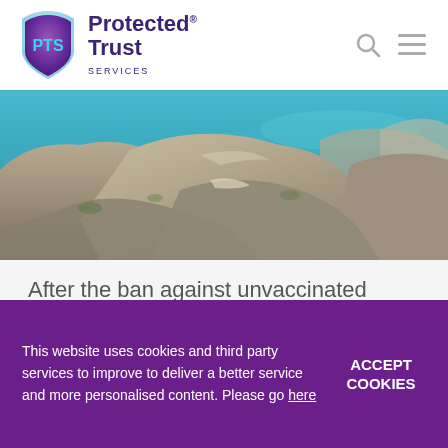[Figure (logo): Protected Trust Services logo with shield icon featuring PTS letters, and company name in purple text]
[Figure (photo): Coastal rocky landscape with turquoise sea water in the background, large rocks and boulders in the foreground with sparse vegetation]
After the ban against unvaccinated visitors from outside the EU was extended by Spain last week, an exciting
This website uses cookies and third party services to improve to deliver a better service and more personalised content. Please go here
ACCEPT COOKIES